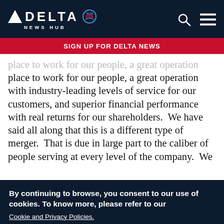DELTA NEWS HUB
SIGN UP FOR DELTA NEWS
place to work for our people, a great operation with industry-leading levels of service for our customers, and superior financial performance with real returns for our shareholders.  We have said all along that this is a different type of merger.  That is due in large part to the caliber of people serving at every level of the company.  We
By continuing to browse, you consent to our use of cookies. To know more, please refer to our Cookie and Privacy Policies.
I AGREE
No, thanks